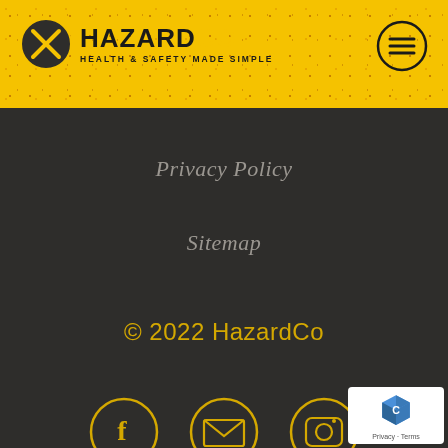[Figure (logo): HazardCo logo with X icon and tagline HEALTH & SAFETY MADE SIMPLE on yellow textured header bar with hamburger menu icon]
Privacy Policy
Sitemap
© 2022 HazardCo
[Figure (illustration): Three circular social media icons in yellow outline style: Facebook (f), Email (envelope), Instagram (camera) on dark background]
[Figure (other): Google reCAPTCHA badge with Privacy and Terms links]